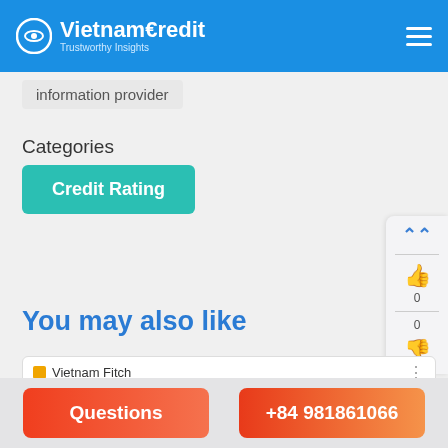VietnamCredit — Trustworthy Insights
information provider
Categories
Credit Rating
You may also like
[Figure (line-chart): Line chart showing Vietnam Fitch credit rating over time with a yellow/orange line stepping around BB- level]
Questions
+84 981861066